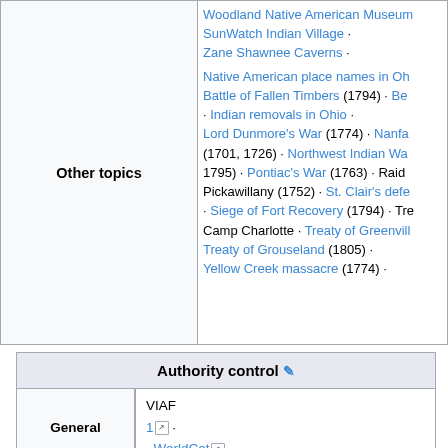|  | Other topics |
| --- | --- |
| Other topics | Woodland Native American Museum · SunWatch Indian Village · Zane Shawnee Caverns · Native American place names in Oh... · Battle of Fallen Timbers (1794) · Be... · Indian removals in Ohio · Lord Dunmore's War (1774) · Nanfa... (1701, 1726) · Northwest Indian Wa... 1795) · Pontiac's War (1763) · Raid Pickawillany (1752) · St. Clair's defe... · Siege of Fort Recovery (1794) · Tre... Camp Charlotte · Treaty of Greenvill... · Treaty of Grouseland (1805) · Yellow Creek massacre (1774) · |
| Authority control |  |  |
| --- | --- | --- |
| General | VIAF | 1 · · WorldCat · |
| National libraries | United States · |  |